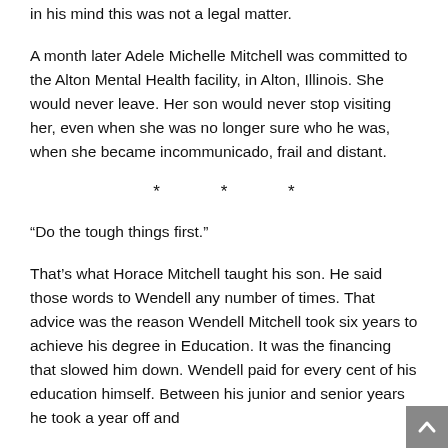in his mind this was not a legal matter.
A month later Adele Michelle Mitchell was committed to the Alton Mental Health facility, in Alton, Illinois. She would never leave. Her son would never stop visiting her, even when she was no longer sure who he was, when she became incommunicado, frail and distant.
* * *
“Do the tough things first.”
That’s what Horace Mitchell taught his son. He said those words to Wendell any number of times. That advice was the reason Wendell Mitchell took six years to achieve his degree in Education. It was the financing that slowed him down. Wendell paid for every cent of his education himself. Between his junior and senior years he took a year off and